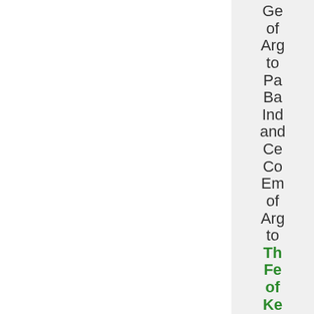Ge of Arg to Pa Ba Ind and Ce Co Em of Arg to The Fe of Ke Ba Em of Arg to Tob Tob